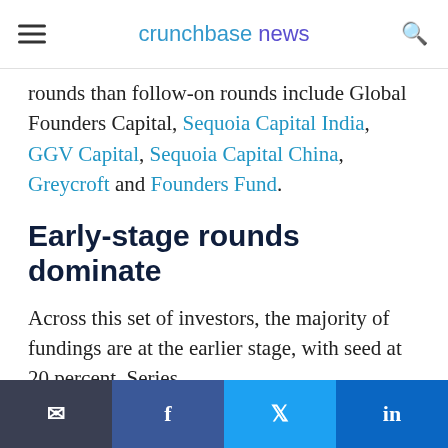crunchbase news
rounds than follow-on rounds include Global Founders Capital, Sequoia Capital India, GGV Capital, Sequoia Capital China, Greycroft and Founders Fund.
Early-stage rounds dominate
Across this set of investors, the majority of fundings are at the earlier stage, with seed at 20 percent, Series
Email | Facebook | Twitter | LinkedIn